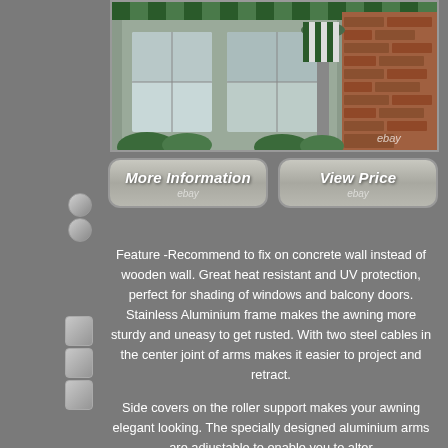[Figure (photo): Photo of a house exterior with a green striped awning installed over windows/balcony doors, brick wall visible, with an eBay watermark]
[Figure (other): Two eBay listing buttons: 'More Information' and 'View Price', styled as rounded rectangle buttons with gray gradient background and white italic text with ebay sub-labels]
Feature -Recommend to fix on concrete wall instead of wooden wall. Great heat resistant and UV protection, perfect for shading of windows and balcony doors. Stainless Aluminium frame makes the awning more sturdy and uneasy to get rusted. With two steel cables in the center joint of arms makes it easier to project and retract.
Side covers on the roller support makes your awning elegant looking. The specially designed aluminium arms are adjustable to enable you to alter